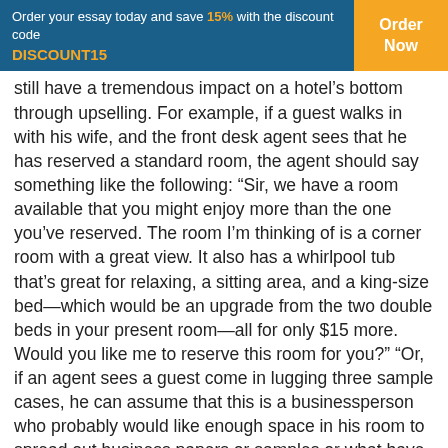Order your essay today and save 15% with the discount code DISCOUNT15 | Order Now
still have a tremendous impact on a hotel’s bottom through upselling. For example, if a guest walks in with his wife, and the front desk agent sees that he has reserved a standard room, the agent should say something like the following: “Sir, we have a room available that you might enjoy more than the one you’ve reserved. The room I’m thinking of is a corner room with a great view. It also has a whirlpool tub that’s great for relaxing, a sitting area, and a king-size bed—which would be an upgrade from the two double beds in your present room—all for only $15 more. Would you like me to reserve this room for you?” “Or, if an agent sees a guest come in lugging three sample cases, he can assume that this is a businessperson who probably would like enough space in his room to spread out business papers or samples or what have you. The agent should say something like this: “Gee, it looks like you’re really loaded down, sir. I see that you’ve reserved a standard guestroom, but I have a bigger room with plenty